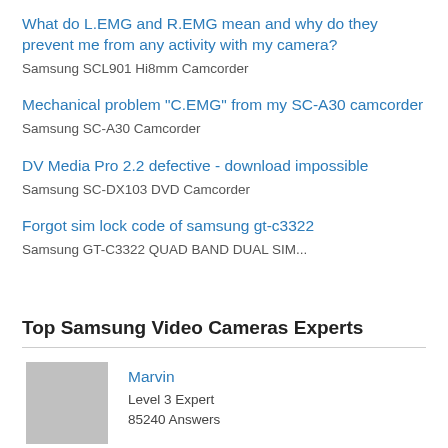What do L.EMG and R.EMG mean and why do they prevent me from any activity with my camera?
Samsung SCL901 Hi8mm Camcorder
Mechanical problem "C.EMG" from my SC-A30 camcorder
Samsung SC-A30 Camcorder
DV Media Pro 2.2 defective - download impossible
Samsung SC-DX103 DVD Camcorder
Forgot sim lock code of samsung gt-c3322
Samsung GT-C3322 QUAD BAND DUAL SIM...
Top Samsung Video Cameras Experts
Marvin
Level 3 Expert
85240 Answers